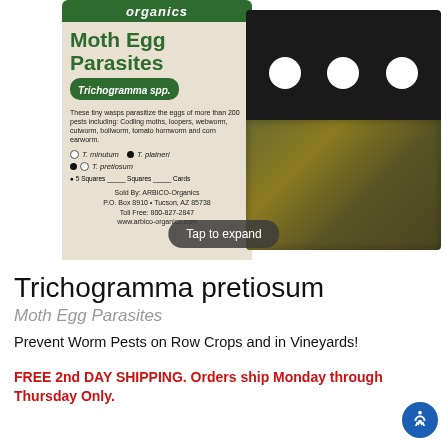[Figure (photo): Product photo of Arbico Organics Moth Egg Parasites (Trichogramma spp.) container label next to a black card with three holes punched in the top and granular material in the lower portion. A 'Tap to expand' button overlay is visible.]
Trichogramma pretiosum
Moth Egg Parasites
Prevent Worm Pests on Row Crops and in Vineyards!
FREE 2nd DAY SHIPPING. Orders ship Monday through Thursday Only.